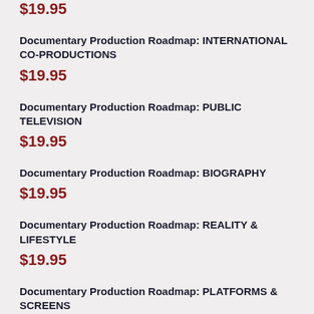$19.95
Documentary Production Roadmap: INTERNATIONAL CO-PRODUCTIONS
$19.95
Documentary Production Roadmap: PUBLIC TELEVISION
$19.95
Documentary Production Roadmap: BIOGRAPHY
$19.95
Documentary Production Roadmap: REALITY & LIFESTYLE
$19.95
Documentary Production Roadmap: PLATFORMS & SCREENS
$9.95
Documentary Production Roadmap: THEATRICAL DISTRIBUTION
$19.95